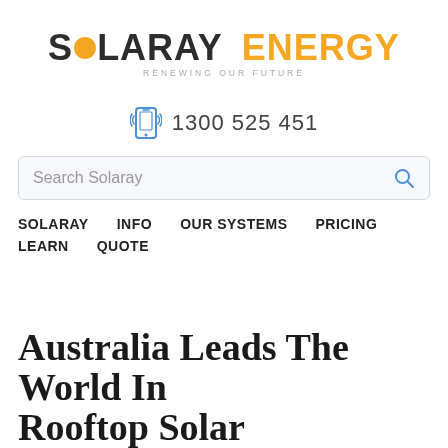[Figure (logo): Solaray Energy logo with orange circle replacing 'O', tagline 'RENEWING OUR FUTURE']
1300 525 451
Search Solaray
SOLARAY  INFO  OUR SYSTEMS  PRICING  LEARN  QUOTE
Australia Leads The World In Rooftop Solar